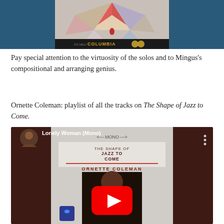[Figure (photo): Album cover photo partially visible — colorful geometric abstract painting with triangular shapes in blues, reds, yellows, and a Columbia Records logo at the bottom.]
Pay special attention to the virtuosity of the solos and to Mingus's compositional and arranging genius.
Ornette Coleman: playlist of all the tracks on The Shape of Jazz to Come.
[Figure (screenshot): YouTube video embed showing 'Lonely Woman (Mono)' with a red YouTube play button overlaid on an album cover image for Ornette Coleman's The Shape of Jazz to Come (Mono). Brown/dark red sidebar panels on either side, channel avatar in top left corner.]